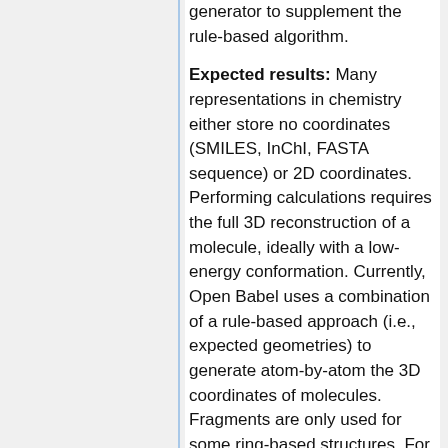generator to supplement the rule-based algorithm.
Expected results: Many representations in chemistry either store no coordinates (SMILES, InChI, FASTA sequence) or 2D coordinates. Performing calculations requires the full 3D reconstruction of a molecule, ideally with a low-energy conformation. Currently, Open Babel uses a combination of a rule-based approach (i.e., expected geometries) to generate atom-by-atom the 3D coordinates of molecules. Fragments are only used for some ring-based structures. For inorganic and organometallic molecules, the rules may fail.
Importantly, the approach is highly efficient, since fragments can set many atoms at once. The project should